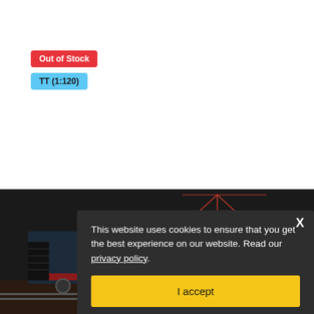Out of Stock
TT (1:120)
[Figure (photo): Model train locomotive, dark colored electric locomotive with red pantograph/overhead wire collector visible at top, partially obscured by cookie consent overlay]
This website uses cookies to ensure that you get the best experience on our website. Read our privacy policy.
I accept